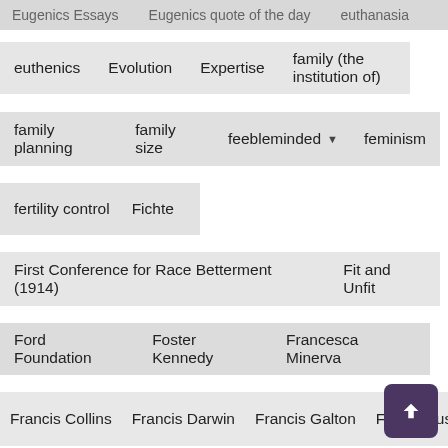euthenics   Evolution   Expertise   family (the institution of)
family planning   family size   feebleminded ▼   feminism
fertility control   Fichte
First Conference for Race Betterment (1914)   Fit and Unfit
Ford Foundation   Foster Kennedy   Francesca Minerva
Francis Collins   Francis Darwin   Francis Galton   Frank Taussig
Franz Boas   Fred Hoyle   Frederick Jaffe   Frederick Osborn
Frederick Taylor ▼   Friedrich Engels   G.E. Moore
Gaylord Nelson   genetic counseling   genetic engineering